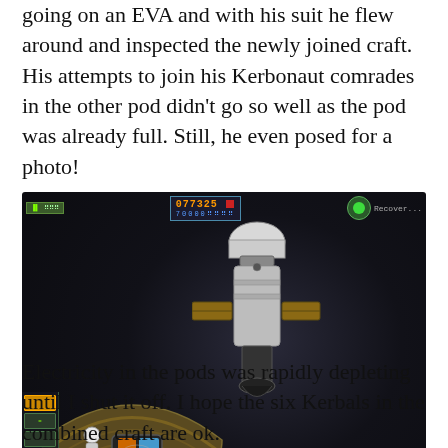going on an EVA and with his suit he flew around and inspected the newly joined craft. His attempts to join his Kerbonaut comrades in the other pod didn't go so well as the pod was already full. Still, he even posed for a photo!
[Figure (screenshot): Screenshot of Kerbal Space Program showing two spacecraft docked together in orbit. A cookie consent overlay bar is visible at the bottom of the screenshot with text 'By continuing to use the site, you agree to the use of cookies. more information' and an ACCEPT button.]
Electricity in the pods was rapidly depleting until I shut it off. I hope the six Kerbals in the combined craft are ok.